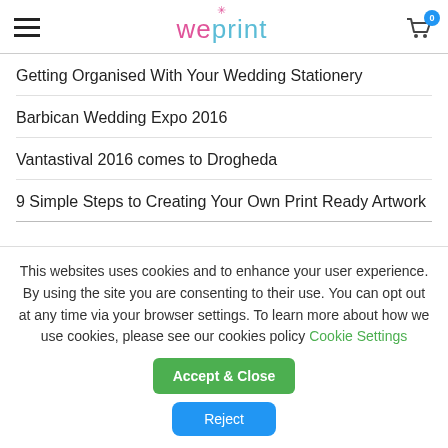weprint
Getting Organised With Your Wedding Stationery
Barbican Wedding Expo 2016
Vantastival 2016 comes to Drogheda
9 Simple Steps to Creating Your Own Print Ready Artwork
This websites uses cookies and to enhance your user experience. By using the site you are consenting to their use. You can opt out at any time via your browser settings. To learn more about how we use cookies, please see our cookies policy
Cookie Settings
Accept & Close
Reject